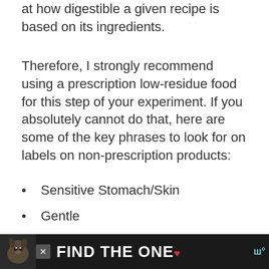at how digestible a given recipe is based on its ingredients.
Therefore, I strongly recommend using a prescription low-residue food for this step of your experiment. If you absolutely cannot do that, here are some of the key phrases to look for on labels on non-prescription products:
Sensitive Stomach/Skin
Gentle
Gastrointestinal/Digestive
Low Residue
[Figure (other): Advertisement banner with dog image and text 'FIND THE ONE' with heart symbol and logo]